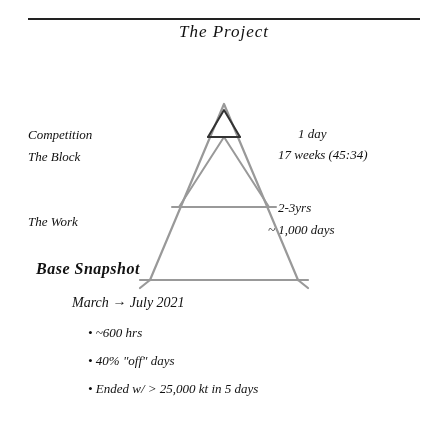The Project
[Figure (illustration): Hand-drawn pyramid/triangle diagram with three nested triangular sections. Top small triangle labeled 'Competition', middle section labeled 'The Block', and large bottom section labeled 'The Work'. Right side annotations: '1 day', '17 weeks (45:34)', '2-3yrs', '~1,000 days'.]
Base Snapshot
March → July 2021
~600 hrs
40% "off" days
Ended w/ > 25,000 kt in 5 days